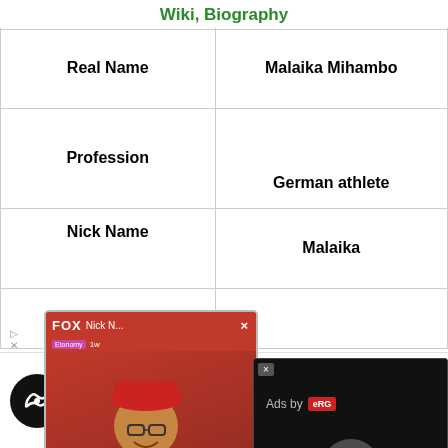Wiki, Biography
| Field | Value |
| --- | --- |
| Real Name | Malaika Mihambo |
| Profession | German athlete |
| Nick Name | Malaika |
[Figure (photo): Advertisement overlay showing a person in red hat with FOX branding]
[Figure (photo): Black advertisement overlay with Ads by branding]
[Figure (screenshot): Bottom advertisement bar with circular icon, In-store shopping text, and blue diamond navigation arrow]